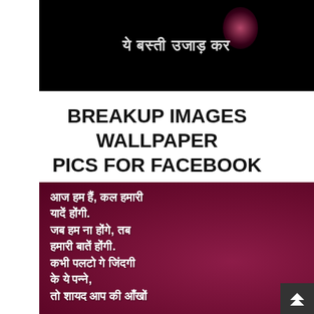[Figure (photo): Dark black background image with Hindi text in white bold font reading lines of a poem/quote, with a pink/magenta glowing element in the upper right]
BREAKUP IMAGES WALLPAPER PICS FOR FACEBOOK
[Figure (photo): Deep magenta/maroon background image with white bold Hindi text of a shayari/poem: आज हम हैं, कल हमारी यादें होंगी. जब हम ना होंगे, तब हमारी बातें होंगी. कभी पलटो गे जिंदगी के ये पन्ने, तो शायद आप की आँखों (text continues below visible area)]